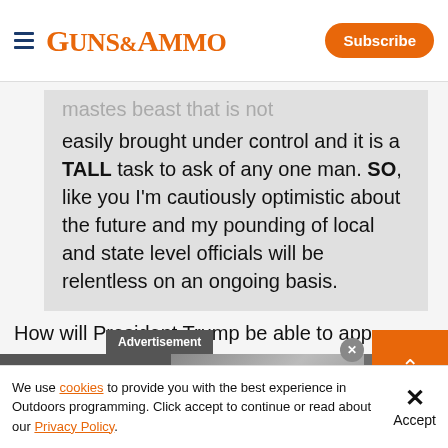GUNS&AMMO | Subscribe
easily brought under control and it is a TALL task to ask of any one man. SO, like you I'm cautiously optimistic about the future and my pounding of local and state level officials will be relentless on an ongoing basis.
How will President Trump be able to app...
[Figure (screenshot): Advertisement banner: VERSATILE NEW GUN VISE IS A MUST FOR EVERY | READ REVIEW]
We use cookies to provide you with the best experience in Outdoors programming. Click accept to continue or read about our Privacy Policy.